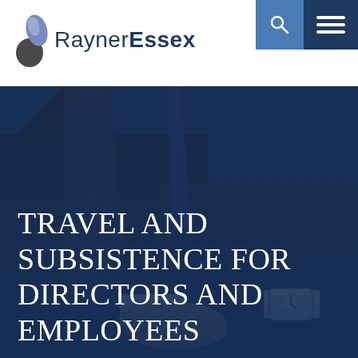[Figure (logo): RaynerEssex logo with abstract leaf/person icon in grey and blue tones]
[Figure (photo): Close-up of a businessman in a dark suit adjusting his watch cufflinks, with a dark blue overlay]
TRAVEL AND SUBSISTENCE FOR DIRECTORS AND EMPLOYEES